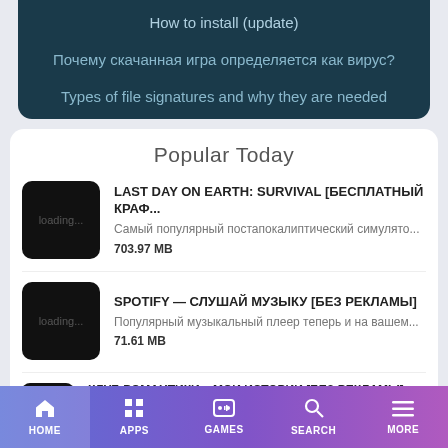How to install (update)
Почему скачанная игра определяется как вирус?
Types of file signatures and why they are needed
Popular Today
LAST DAY ON EARTH: SURVIVAL [БЕСПЛАТНЫЙ КРАФ...
Самый популярный постапокалиптический симулято...
703.97 MB
SPOTIFY — СЛУШАЙ МУЗЫКУ [БЕЗ РЕКЛАМЫ]
Популярный музыкальный плеер теперь и на вашем...
71.61 MB
КЛУБ РОМАНТИКИ – МОИ ИСТОРИИ [БЕЗ РЕКЛАМЫ]...
Новел... Не сколько... ркетами... дeвочке...
30.6 Mb
HOME   APPS   GAMES   SEARCH   MORE